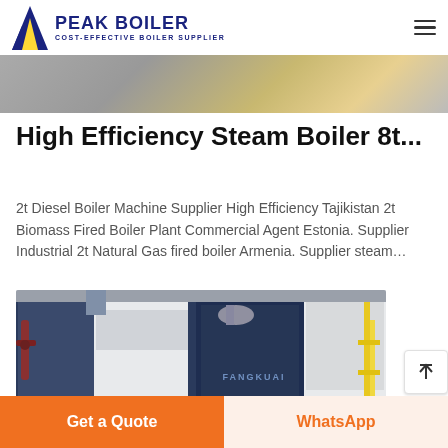PEAK BOILER COST-EFFECTIVE BOILER SUPPLIER
[Figure (photo): Partial top strip image of boiler equipment]
High Efficiency Steam Boiler 8t...
2t Diesel Boiler Machine Supplier High Efficiency Tajikistan 2t Biomass Fired Boiler Plant Commercial Agent Estonia. Supplier Industrial 2t Natural Gas fired boiler Armenia. Supplier steam…
[Figure (photo): Industrial FANGKUAI brand steam boilers installed in a facility, showing blue and white vertical boiler units with pipes and yellow structural supports]
Get a Quote
WhatsApp